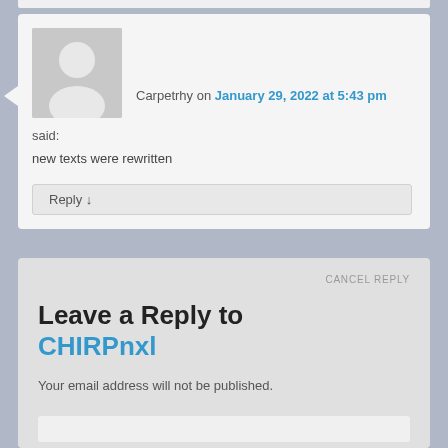Carpetrhy on January 29, 2022 at 5:43 pm
said:
new texts were rewritten
Reply ↓
Leave a Reply to CHIRPnxl  CANCEL REPLY
Your email address will not be published.